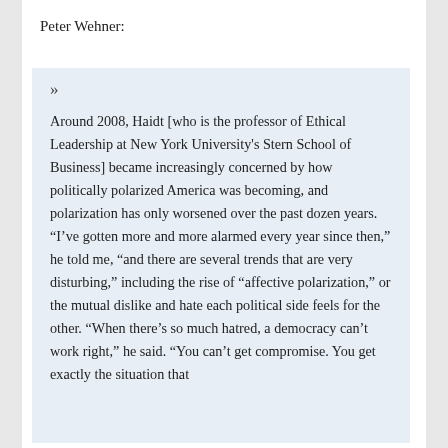Peter Wehner:
»

Around 2008, Haidt [who is the professor of Ethical Leadership at New York University's Stern School of Business] became increasingly concerned by how politically polarized America was becoming, and polarization has only worsened over the past dozen years. “I’ve gotten more and more alarmed every year since then,” he told me, “and there are several trends that are very disturbing,” including the rise of “affective polarization,” or the mutual dislike and hate each political side feels for the other. “When there’s so much hatred, a democracy can’t work right,” he said. “You can’t get compromise. You get exactly the situation that